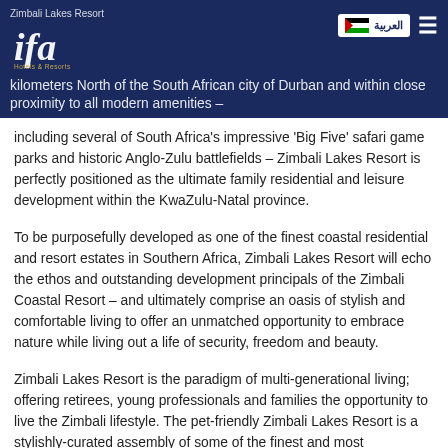Zimbali Lakes Resort — IFA Hotels & Resorts logo — kilometers North of the South African city of Durban and within close proximity to all modern amenities – Arabic navigation button and hamburger menu
including several of South Africa's impressive 'Big Five' safari game parks and historic Anglo-Zulu battlefields – Zimbali Lakes Resort is perfectly positioned as the ultimate family residential and leisure development within the KwaZulu-Natal province.
To be purposefully developed as one of the finest coastal residential and resort estates in Southern Africa, Zimbali Lakes Resort will echo the ethos and outstanding development principals of the Zimbali Coastal Resort – and ultimately comprise an oasis of stylish and comfortable living to offer an unmatched opportunity to embrace nature while living out a life of security, freedom and beauty.
Zimbali Lakes Resort is the paradigm of multi-generational living; offering retirees, young professionals and families the opportunity to live the Zimbali lifestyle. The pet-friendly Zimbali Lakes Resort is a stylishly-curated assembly of some of the finest and most